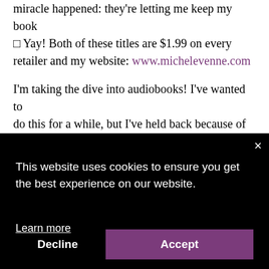miracle happened: they're letting me keep my book □ Yay! Both of these titles are $1.99 on every retailer and my website: www.michelevenne.com
I'm taking the dive into audiobooks! I've wanted to do this for a while, but I've held back because of advice from gurus in the industry. Then I thought, if not now, when? Audiobooks have been snagging
[Figure (screenshot): Cookie consent popup overlay with black background. Shows text 'This website uses cookies to ensure you get the best experience on our website.' with 'Learn more' link, a 'Decline' button, and a purple 'Accept' button. Close (×) button in top right corner.]
interested to get feedback from listeners